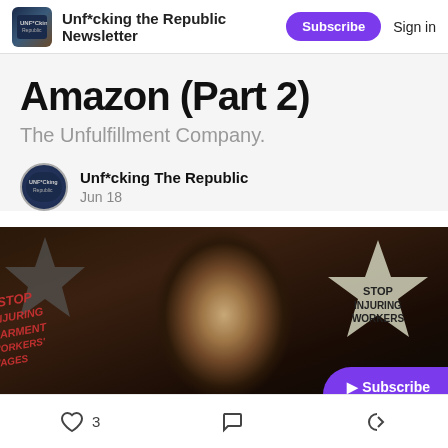Unf*cking the Republic Newsletter  Subscribe  Sign in
Amazon (Part 2)
The Unfulfillment Company.
Unf*cking The Republic
Jun 18
[Figure (photo): Protest image showing an elderly person in the center with star-shaped signs reading 'STOP INJURING WORKERS' and partially visible text on the left side.]
3  [comment icon]  [share icon]